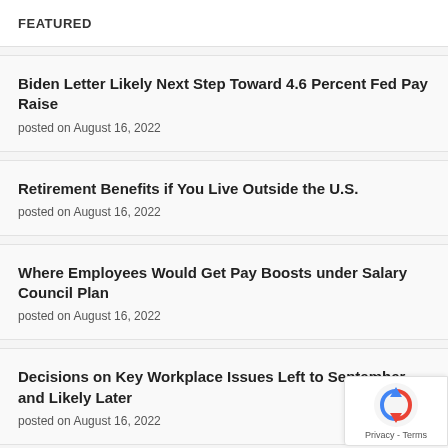FEATURED
Biden Letter Likely Next Step Toward 4.6 Percent Fed Pay Raise
posted on August 16, 2022
Retirement Benefits if You Live Outside the U.S.
posted on August 16, 2022
Where Employees Would Get Pay Boosts under Salary Council Plan
posted on August 16, 2022
Decisions on Key Workplace Issues Left to September – and Likely Later
posted on August 16, 2022